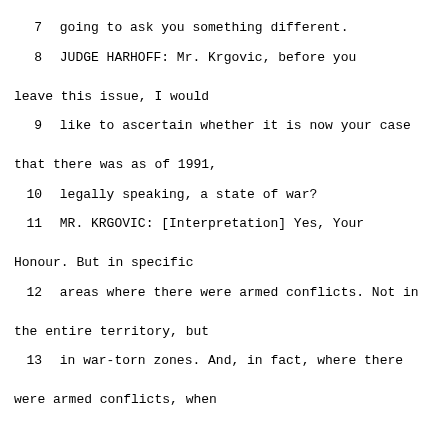7    going to ask you something different.
8          JUDGE HARHOFF:  Mr. Krgovic, before you leave this issue, I would
9    like to ascertain whether it is now your case that there was as of 1991,
10    legally speaking, a state of war?
11          MR. KRGOVIC: [Interpretation] Yes, Your Honour.  But in specific
12    areas where there were armed conflicts.  Not in the entire territory, but
13    in war-torn zones.  And, in fact, where there were armed conflicts, when